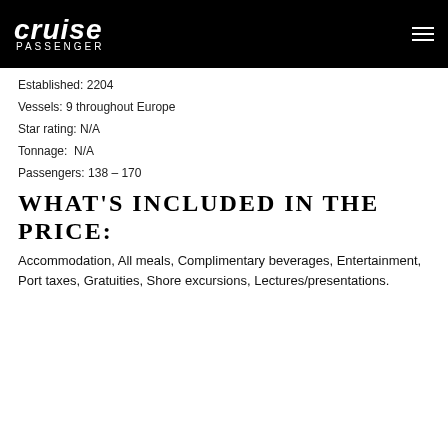cruise passenger
Established: 2204
Vessels: 9 throughout Europe
Star rating: N/A
Tonnage:  N/A
Passengers: 138 – 170
WHAT'S INCLUDED IN THE PRICE:
Accommodation, All meals, Complimentary beverages, Entertainment, Port taxes, Gratuities, Shore excursions, Lectures/presentations.